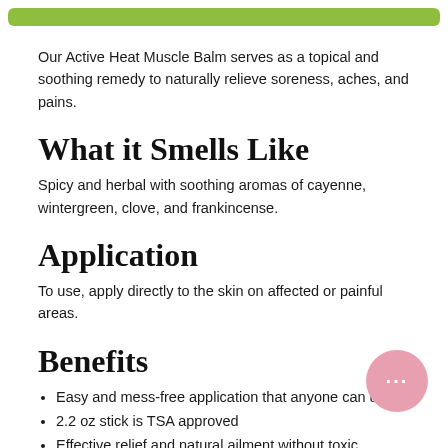[Figure (other): Green rounded banner/bar at top of page]
Our Active Heat Muscle Balm serves as a topical and soothing remedy to naturally relieve soreness, aches, and pains.
What it Smells Like
Spicy and herbal with soothing aromas of cayenne, wintergreen, clove, and frankincense.
Application
To use, apply directly to the skin on affected or painful areas.
Benefits
Easy and mess-free application that anyone can use
2.2 oz stick is TSA approved
Effective relief and natural ailment without toxic